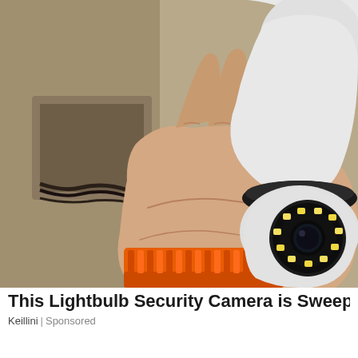[Figure (photo): A hand holding a white lightbulb-shaped security camera with visible LED lights and camera lens, against a beige/tan wall background with electrical cables visible. The person is wearing an orange wristband or tool.]
This Lightbulb Security Camera is Sweepin
Keillini | Sponsored